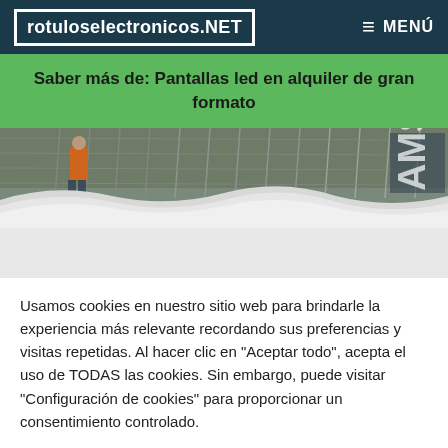rotuloselectronicos.NET  MENÚ
Saber más de: Pantallas led en alquiler de gran formato
[Figure (photo): Construction scene with metal fence/scaffolding, workers in background, partial text 'AMS' visible on right side]
Usamos cookies en nuestro sitio web para brindarle la experiencia más relevante recordando sus preferencias y visitas repetidas. Al hacer clic en "Aceptar todo", acepta el uso de TODAS las cookies. Sin embargo, puede visitar "Configuración de cookies" para proporcionar un consentimiento controlado.
Ajustes   Aceptar todo